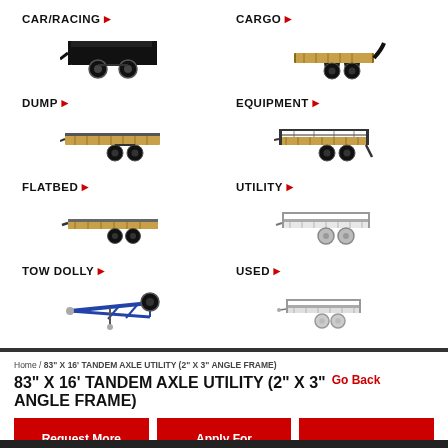[Figure (illustration): CAR/RACING trailer link with black dump-style trailer image]
[Figure (illustration): CARGO trailer link with gooseneck flatbed trailer image]
[Figure (illustration): DUMP trailer link with flatbed trailer image]
[Figure (illustration): EQUIPMENT trailer link with open utility trailer image]
[Figure (illustration): FLATBED trailer link with flatbed trailer image]
[Figure (illustration): UTILITY trailer link with utility trailer image]
[Figure (illustration): TOW DOLLY trailer link with tow dolly image]
[Figure (illustration): USED trailer link with small utility trailer image]
Home / 83" X 16' TANDEM AXLE UTILITY (2" X 3" ANGLE FRAME)
83" X 16' TANDEM AXLE UTILITY (2" X 3" ANGLE FRAME)
Go Back
Request More Info
Apply For Financing
Print Unit Info